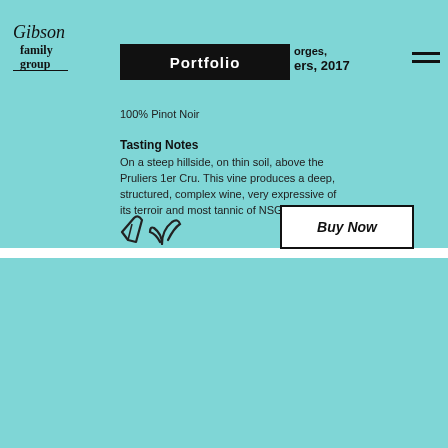[Figure (logo): Gibson Family Group cursive logo, top left]
[Figure (other): Black 'Portfolio' header bar with partially redacted wine name and year 2017, with hamburger menu lines]
100% Pinot Noir
Tasting Notes
On a steep hillside, on thin soil, above the Pruliers 1er Cru. This vine produces a deep, structured, complex wine, very expressive of its terroir and most tannic of NSG.
[Figure (illustration): Two small leaf/plant icons (vegan/organic symbols)]
Buy Now
[Figure (photo): Wine bottle photo in light teal rectangle]
Vosne-Romanée